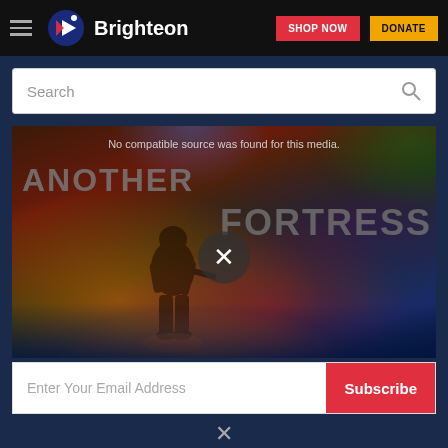[Figure (screenshot): Brighteon website navigation bar with hamburger menu, Brighteon logo, SHOP NOW red button, and DONATE yellow button on black background]
[Figure (screenshot): Search bar with placeholder text 'Search' and magnifying glass icon]
[Figure (screenshot): Video player showing 'ANOTHER FORTRESS' title with error message 'No compatible source was found for this media.' and an X close button overlay on a dark action game thumbnail]
No compatible source was found for this media.
ANOTHER FORTRESS
[Figure (screenshot): Email subscription bar with 'Enter Your Email Address' placeholder and red Subscribe button]
Enter Your Email Address
Subscribe
×